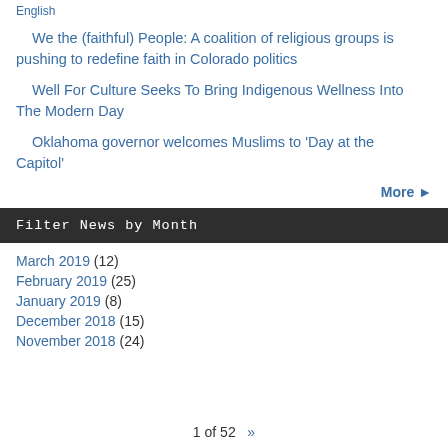English
We the (faithful) People: A coalition of religious groups is pushing to redefine faith in Colorado politics
Well For Culture Seeks To Bring Indigenous Wellness Into The Modern Day
Oklahoma governor welcomes Muslims to 'Day at the Capitol'
More ▶
Filter News by Month
March 2019 (12)
February 2019 (25)
January 2019 (8)
December 2018 (15)
November 2018 (24)
1 of 52  »